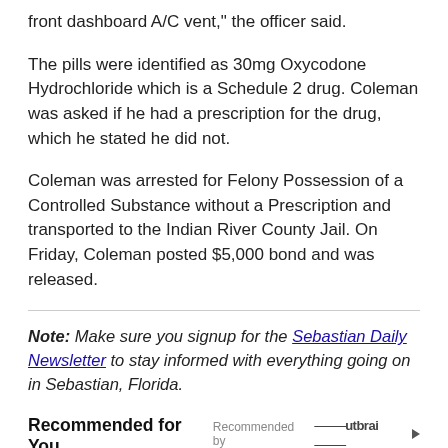front dashboard A/C vent," the officer said.
The pills were identified as 30mg Oxycodone Hydrochloride which is a Schedule 2 drug. Coleman was asked if he had a prescription for the drug, which he stated he did not.
Coleman was arrested for Felony Possession of a Controlled Substance without a Prescription and transported to the Indian River County Jail. On Friday, Coleman posted $5,000 bond and was released.
Note: Make sure you signup for the Sebastian Daily Newsletter to stay informed with everything going on in Sebastian, Florida.
Recommended for You